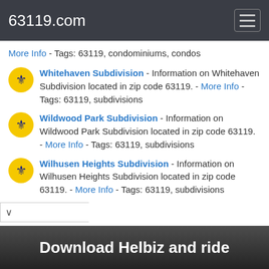63119.com
More Info - Tags: 63119, condominiums, condos
Whitehaven Subdivision - Information on Whitehaven Subdivision located in zip code 63119. - More Info - Tags: 63119, subdivisions
Wildwood Park Subdivision - Information on Wildwood Park Subdivision located in zip code 63119. - More Info - Tags: 63119, subdivisions
Wilhusen Heights Subdivision - Information on Wilhusen Heights Subdivision located in zip code 63119. - More Info - Tags: 63119, subdivisions
[Figure (photo): Advertisement banner at bottom: 'Download Helbiz and ride' with dark photo background]